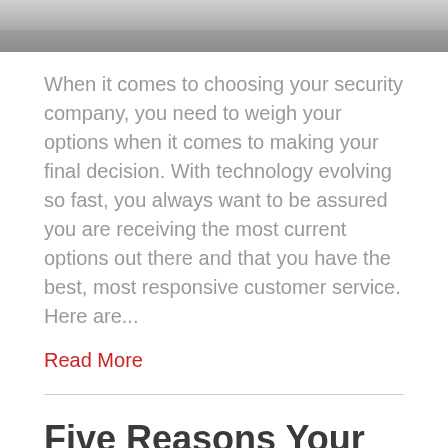[Figure (photo): Grayscale photo strip at top of page, partial view of a scene]
When it comes to choosing your security company, you need to weigh your options when it comes to making your final decision. With technology evolving so fast, you always want to be assured you are receiving the most current options out there and that you have the best, most responsive customer service. Here are...
Read More
Five Reasons Your Business Needs Video Surveillance